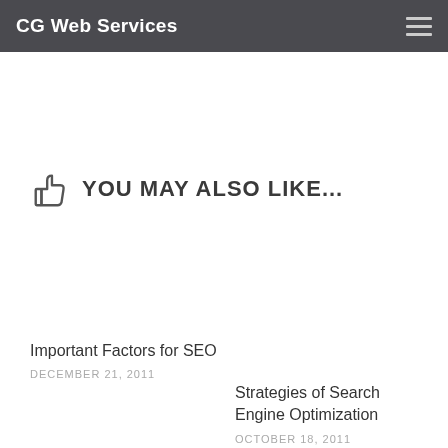CG Web Services
YOU MAY ALSO LIKE...
Important Factors for SEO
DECEMBER 21, 2011
Strategies of Search Engine Optimization
OCTOBER 18, 2011